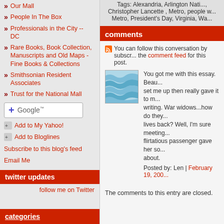Our Mail
People In The Box
Professionals in the City -- DC
Rare Books, Book Collection, Manuscripts and Old Maps - Fine Books & Collections
Smithsonian Resident Associates
Trust for the National Mall
[Figure (other): Add to Google button]
Add to My Yahoo!
Add to Bloglines
Subscribe to this blog's feed
Email Me
twitter updates
follow me on Twitter
categories
Tags: Alexandria, Arlington National ..., Christopher Lancette , Metro, people w..., Metro, President's Day, Virginia, Wa...
comments
You can follow this conversation by subscribing to the comment feed for this post.
You got me with this essay. Beautifully set me up then really gave it to me with the writing. War widows...how do they get their lives back? Well, I'm sure meeting a flirtatious passenger gave her something to think about.
Posted by: Len | February 19, 200...
The comments to this entry are closed.